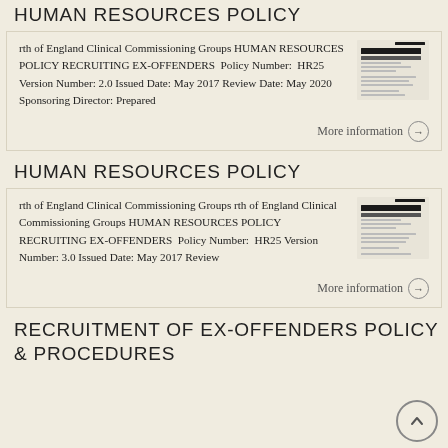HUMAN RESOURCES POLICY
rth of England Clinical Commissioning Groups HUMAN RESOURCES POLICY RECRUITING EX-OFFENDERS Policy Number: HR25 Version Number: 2.0 Issued Date: May 2017 Review Date: May 2020 Sponsoring Director: Prepared
More information
HUMAN RESOURCES POLICY
rth of England Clinical Commissioning Groups rth of England Clinical Commissioning Groups HUMAN RESOURCES POLICY RECRUITING EX-OFFENDERS Policy Number: HR25 Version Number: 3.0 Issued Date: May 2017 Review
More information
RECRUITMENT OF EX-OFFENDERS POLICY & PROCEDURES